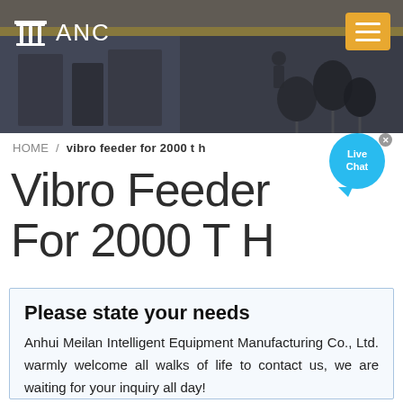[Figure (photo): Factory/industrial interior background with overhead cranes and microphone stand equipment visible, overlaid with ANC logo and hamburger menu]
ANC
HOME / vibro feeder for 2000 t h
Vibro Feeder For 2000 T H
Please state your needs
Anhui Meilan Intelligent Equipment Manufacturing Co., Ltd. warmly welcome all walks of life to contact us, we are waiting for your inquiry all day!